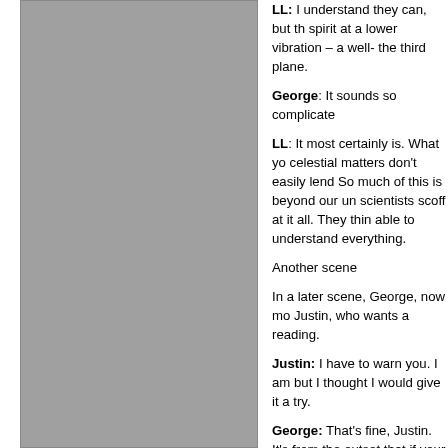[Figure (photo): Gray rectangular image placeholder occupying left column of the page]
LL: I understand they can, but the spirit at a lower vibration – a well- the third plane.
George: It sounds so complicated.
LL: It most certainly is. What you celestial matters don't easily lend. So much of this is beyond our und scientists scoff at it all. They thini able to understand everything.
Another scene
In a later scene, George, now mo Justin, who wants a reading.
Justin: I have to warn you. I am but I thought I would give it a try.
George: That's fine, Justin. It's from the outset that if your skepti anything. There has to be a certa for me to get something. That is Their negativity defeats the whole jump to the conclusion that the m